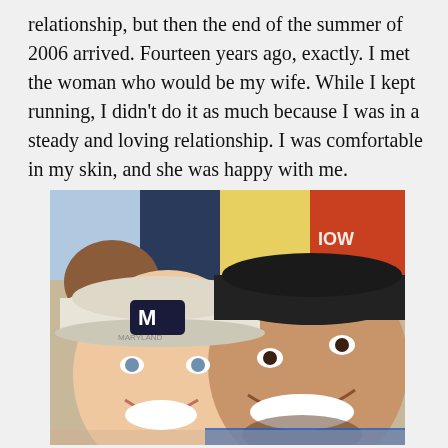relationship, but then the end of the summer of 2006 arrived. Fourteen years ago, exactly. I met the woman who would be my wife. While I kept running, I didn't do it as much because I was in a steady and loving relationship. I was comfortable in my skin, and she was happy with me.
[Figure (photo): A selfie photo of a smiling couple at what appears to be a sporting event. The woman on the left wears a white Maryland (M) cap and has light skin and blue eyes. The man on the right wears a dark baseball cap, has a beard, and is wearing a blue shirt. Other people and colorful clothing are visible in the background.]